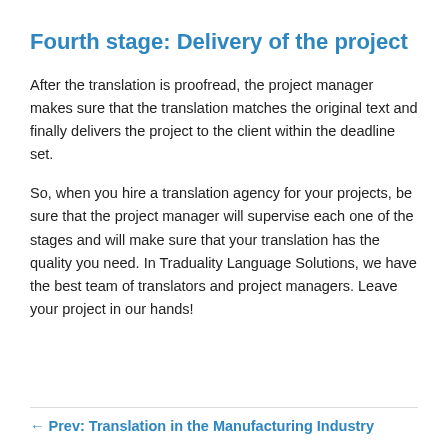Fourth stage: Delivery of the project
After the translation is proofread, the project manager makes sure that the translation matches the original text and finally delivers the project to the client within the deadline set.
So, when you hire a translation agency for your projects, be sure that the project manager will supervise each one of the stages and will make sure that your translation has the quality you need. In Traduality Language Solutions, we have the best team of translators and project managers. Leave your project in our hands!
← Prev: Translation in the Manufacturing Industry